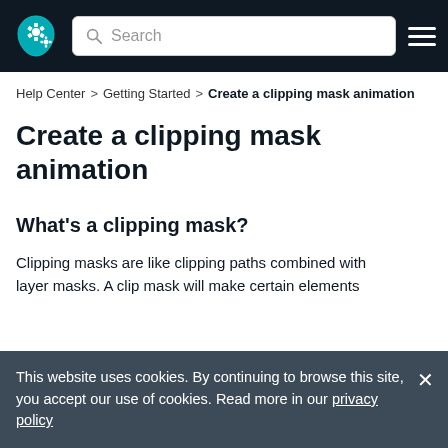[Figure (screenshot): Navigation bar with logo, search bar, and hamburger menu on dark background]
Help Center > Getting Started > Create a clipping mask animation
Create a clipping mask animation
What's a clipping mask?
Clipping masks are like clipping paths combined with layer masks. A clip mask will make certain elements
This website uses cookies. By continuing to browse this site, you accept our use of cookies. Read more in our privacy policy